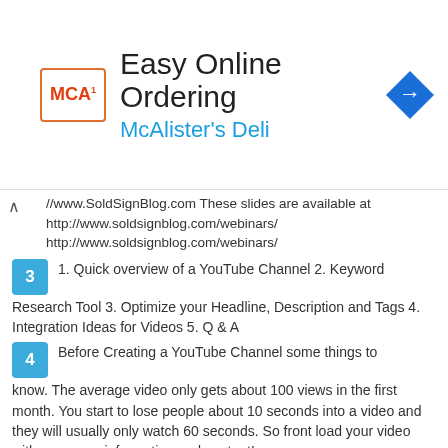[Figure (logo): McAlister's Deli advertisement banner with logo, title 'Easy Online Ordering', subtitle 'McAlister's Deli', and a blue arrow sign icon]
//www.SoldSignBlog.com These slides are available at http://www.soldsignblog.com/webinars/ http://www.soldsignblog.com/webinars/
3  1. Quick overview of a YouTube Channel 2. Keyword Research Tool 3. Optimize your Headline, Description and Tags 4. Integration Ideas for Videos 5. Q & A
4  Before Creating a YouTube Channel some things to know. The average video only gets about 100 views in the first month. You start to lose people about 10 seconds into a video and they will usually only watch 60 seconds. So front load your video with awesome information and content!
5  Setting Up a YouTube Channel Start by going to http://www.YouTube.comhttp://www.YouTube.com
6  Keyword Research Tool https://ads.youtube.com/keyword_tool Give s you suggestions for keywords based on topics or on other videos you see that rank for your keywords.